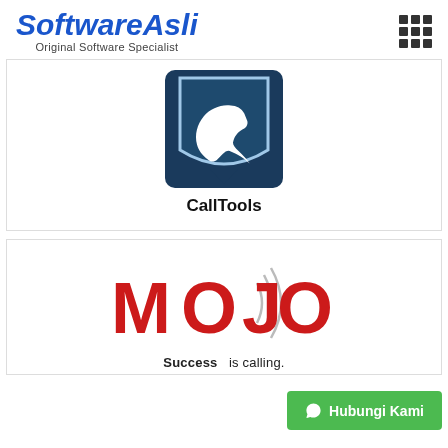[Figure (logo): SoftwareAsli logo with italic bold blue text and tagline 'Original Software Specialist']
[Figure (illustration): CallTools app icon: dark teal shield/badge shape with white telephone handset icon]
CallTools
[Figure (logo): Mojo logo in red with radio wave signal icon; tagline 'Success is calling.']